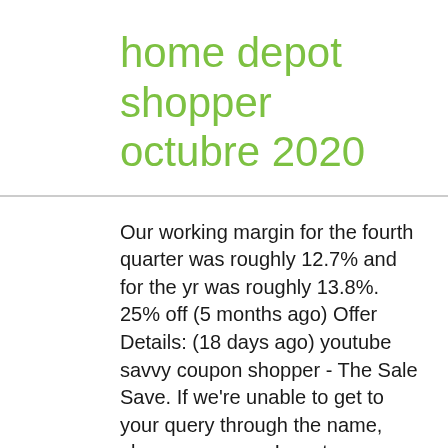home depot shopper octubre 2020
Our working margin for the fourth quarter was roughly 12.7% and for the yr was roughly 13.8%. 25% off (5 months ago) Offer Details: (18 days ago) youtube savvy coupon shopper - The Sale Save. If we're unable to get to your query through the name, please name our Investor Relations division at (770) 384-2387. Retail promoting sq. In 2019, Home Depot was ranked #124 World's Best Employers and #312 for Best Employer for Diversity by Forbes. Fourth, we recorded bills associated to our strategic funding plan of roughly $325 million, a rise of roughly $45 million in comparison with final yr. And eventually, through the fourth quarter, we confirmed robust expense management in different areas of the enterprise